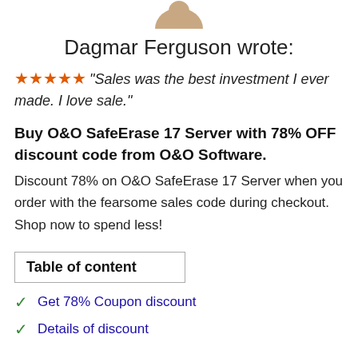[Figure (photo): Partial profile photo of Dagmar Ferguson, cropped at top]
Dagmar Ferguson wrote:
★★★★★ "Sales was the best investment I ever made. I love sale."
Buy O&O SafeErase 17 Server with 78% OFF discount code from O&O Software.
Discount 78% on O&O SafeErase 17 Server when you order with the fearsome sales code during checkout. Shop now to spend less!
| Table of content |
| --- |
Get 78% Coupon discount
Details of discount